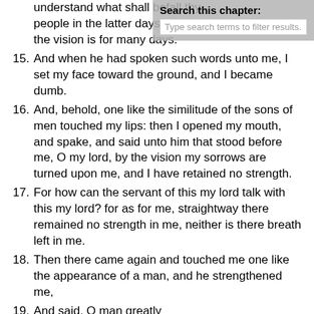understand what shall befall thy people in the latter days: for yet the vision is for many days.
15. And when he had spoken such words unto me, I set my face toward the ground, and I became dumb.
16. And, behold, one like the similitude of the sons of men touched my lips: then I opened my mouth, and spake, and said unto him that stood before me, O my lord, by the vision my sorrows are turned upon me, and I have retained no strength.
17. For how can the servant of this my lord talk with this my lord? for as for me, straightway there remained no strength in me, neither is there breath left in me.
18. Then there came again and touched me one like the appearance of a man, and he strengthened me,
19. And said, O man greatly